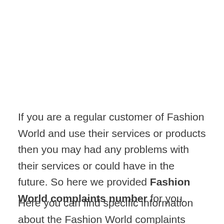If you are a regular customer of Fashion World and use their services or products then you may had any problems with their services or could have in the future. So here we provided Fashion World complaints number for you.
Here you can find specific information about the Fashion World complaints number and Fashion World UK